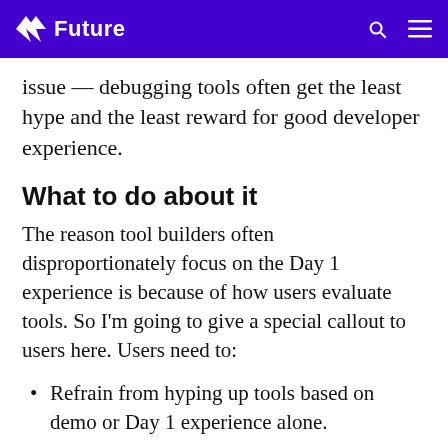Future
issue — debugging tools often get the least hype and the least reward for good developer experience.
What to do about it
The reason tool builders often disproportionately focus on the Day 1 experience is because of how users evaluate tools. So I'm going to give a special callout to users here. Users need to:
Refrain from hyping up tools based on demo or Day 1 experience alone.